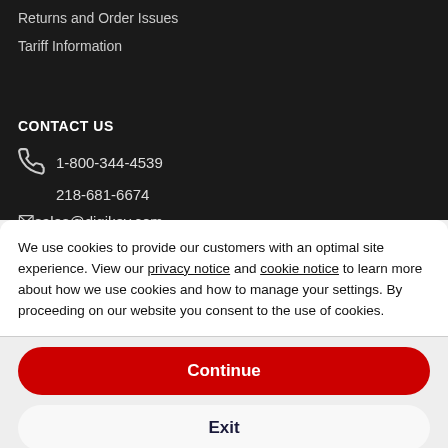Returns and Order Issues
Tariff Information
CONTACT US
1-800-344-4539
218-681-6674
sales@digikey.com
We use cookies to provide our customers with an optimal site experience. View our privacy notice and cookie notice to learn more about how we use cookies and how to manage your settings. By proceeding on our website you consent to the use of cookies.
Continue
Exit
Privacy Notice